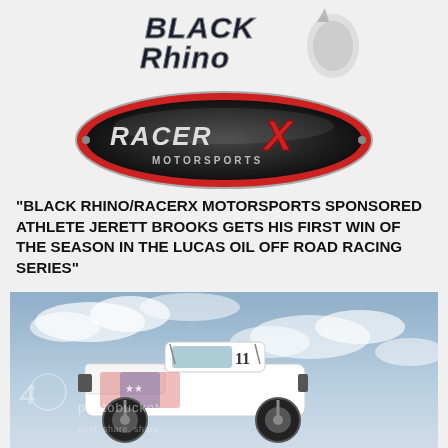[Figure (logo): Black Rhino logo with stylized text and rhino graphic in dark and silver tones]
[Figure (logo): RacerX Motorsports oval logo with metallic dark background, red swoosh, and large red X]
“BLACK RHINO/RACERX MOTORSPORTS SPONSORED ATHLETE JERETT BROOKS GETS HIS FIRST WIN OF THE SEASON IN THE LUCAS OIL OFF ROAD RACING SERIES”
[Figure (photo): Off-road race truck (number 11, white with patriotic graphics) airborne against a cloudy sky background. Photobucket watermark visible.]